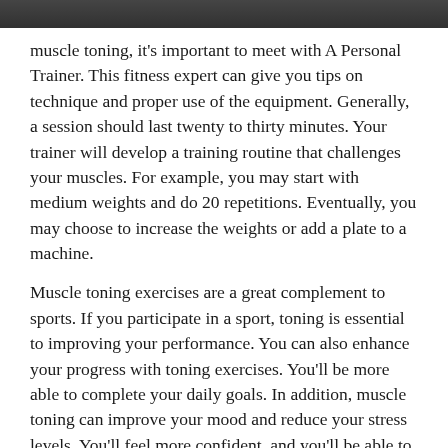[Figure (photo): Dark/grey image at top of page, partially visible]
muscle toning, it's important to meet with A Personal Trainer. This fitness expert can give you tips on technique and proper use of the equipment. Generally, a session should last twenty to thirty minutes. Your trainer will develop a training routine that challenges your muscles. For example, you may start with medium weights and do 20 repetitions. Eventually, you may choose to increase the weights or add a plate to a machine.
Muscle toning exercises are a great complement to sports. If you participate in a sport, toning is essential to improving your performance. You can also enhance your progress with toning exercises. You'll be more able to complete your daily goals. In addition, muscle toning can improve your mood and reduce your stress levels. You'll feel more confident, and you'll be able to enjoy life more.
When you're starting muscle toning, you need to know what